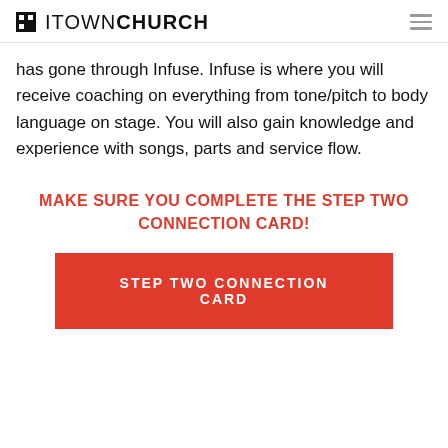ITOWN CHURCH
has gone through Infuse. Infuse is where you will receive coaching on everything from tone/pitch to body language on stage. You will also gain knowledge and experience with songs, parts and service flow.
MAKE SURE YOU COMPLETE THE STEP TWO CONNECTION CARD!
STEP TWO CONNECTION CARD